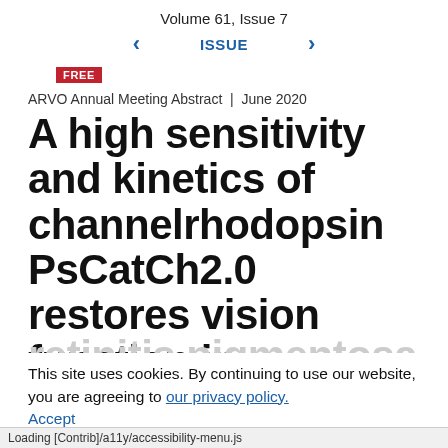Volume 61, Issue 7
‹  ISSUE  ›
FREE
ARVO Annual Meeting Abstract  |  June 2020
A high sensitivity and kinetics of channelrhodopsin PsCatCh2.0 restores vision function in
retinitis pigmentosa mouse model
This site uses cookies. By continuing to use our website, you are agreeing to our privacy policy. Accept
Loading [Contrib]/a11y/accessibility-menu.js